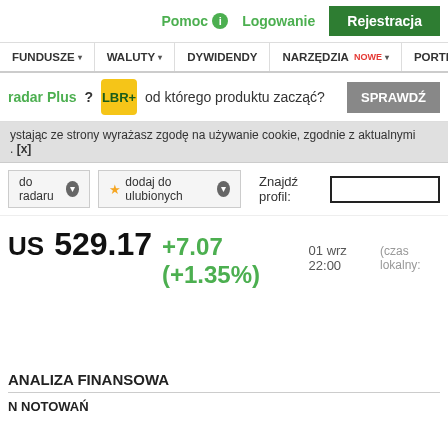Pomoc   Logowanie   Rejestracja
FUNDUSZE  WALUTY  DYWIDENDY  NARZĘDZIA NOWE  PORTFEL
radar Plus?  od którego produktu zacząć?  SPRAWDŹ
ystając ze strony wyrażasz zgodę na używanie cookie, zgodnie z aktualnymi . [x]
do radaru  ▼   ★ dodaj do ulubionych  ▼   Znajdź profil:
US  529.17  +7.07 (+1.35%)  01 wrz 22:00  (czas lokalny:
ANALIZA FINANSOWA
N NOTOWAŃ